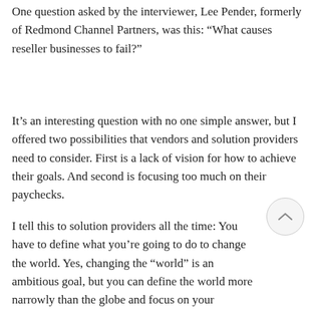One question asked by the interviewer, Lee Pender, formerly of Redmond Channel Partners, was this: “What causes reseller businesses to fail?”
It’s an interesting question with no one simple answer, but I offered two possibilities that vendors and solution providers need to consider. First is a lack of vision for how to achieve their goals. And second is focusing too much on their paychecks.
I tell this to solution providers all the time: You have to define what you’re going to do to change the world. Yes, changing the “world” is an ambitious goal, but you can define the world more narrowly than the globe and focus on your immediate surroundings if you like. The point is that you have to identify what it is that makes your business different and